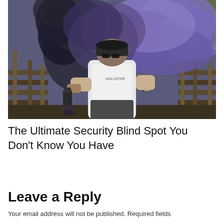[Figure (photo): Man in a white Hollister t-shirt and dark cap holding a smoke grenade emitting large purple and dark smoke clouds, standing outdoors near a wooden fence with trees in the background.]
The Ultimate Security Blind Spot You Don't Know You Have
Leave a Reply
Your email address will not be published. Required fields